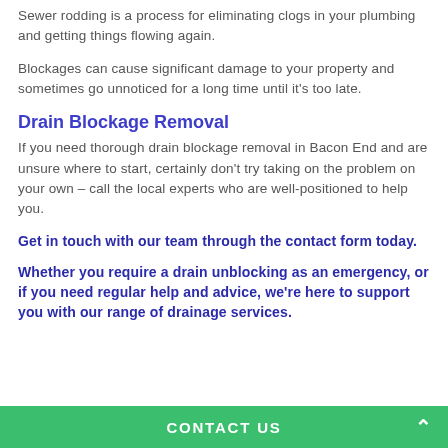Sewer rodding is a process for eliminating clogs in your plumbing and getting things flowing again.
Blockages can cause significant damage to your property and sometimes go unnoticed for a long time until it's too late.
Drain Blockage Removal
If you need thorough drain blockage removal in Bacon End and are unsure where to start, certainly don't try taking on the problem on your own – call the local experts who are well-positioned to help you.
Get in touch with our team through the contact form today.
Whether you require a drain unblocking as an emergency, or if you need regular help and advice, we're here to support you with our range of drainage services.
CONTACT US